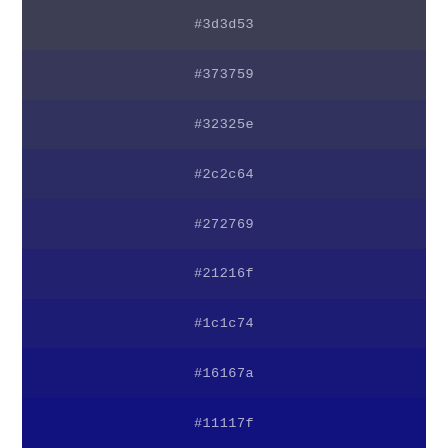[Figure (infographic): Color swatch palette showing a gradient progression of dark blue-purple hex colors: #3d3d53, #373759, #32325e, #2c2c64, #272769, #21216f, #1c1c74, #16167a, #11117f]
#3d3d53
#373759
#32325e
#2c2c64
#272769
#21216f
#1c1c74
#16167a
#11117f